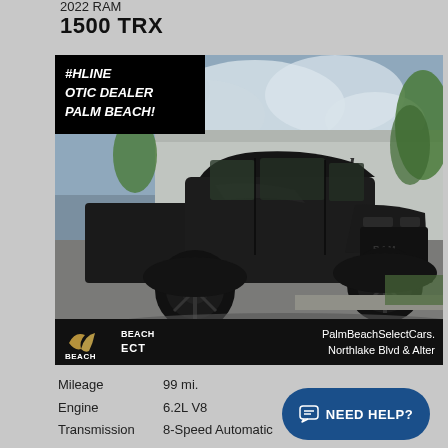2022 RAM
1500 TRX
[Figure (photo): Black 2022 RAM 1500 TRX truck parked at Palm Beach Select Cars dealership. A black overlay badge on the top-left reads '#HLINE OTIC DEALER PALM BEACH!' in italic white text. The dealership bar at the bottom shows the Beach Select logo on the left and 'PalmBeachSelectCars. Northlake Blvd & Alter' on the right in white text on black background.]
Mileage   99 mi.
Engine   6.2L V8
Transmission   8-Speed Automatic
Drivetrain   Four-Wheel Drive